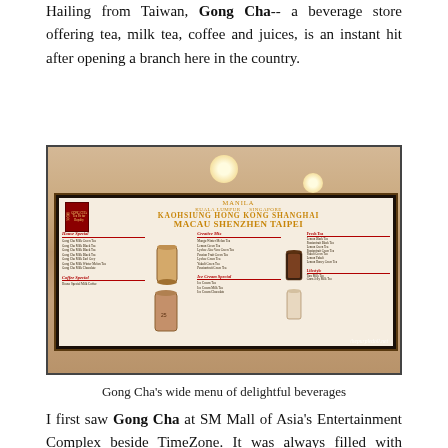Hailing from Taiwan, Gong Cha-- a beverage store offering tea, milk tea, coffee and juices, is an instant hit after opening a branch here in the country.
[Figure (photo): Photo of Gong Cha's wide menu board mounted on a warm-toned wall inside the store, showing House Special, Coffee Special, Creative Mix, and Ice Cream Special sections with city names Manila, Kuala Lumpur, Singapore, Kaohsiung, Hong Kong, Shanghai, Macau, Shenzhen, Taipei displayed prominently. Watermark: thepurpledoll.net]
Gong Cha's wide menu of delightful beverages
I first saw Gong Cha at SM Mall of Asia's Entertainment Complex beside TimeZone. It was always filled with customers, but being a milk tea lover, I didn't hesitate to try it out. I remember the first thing I've ordered from